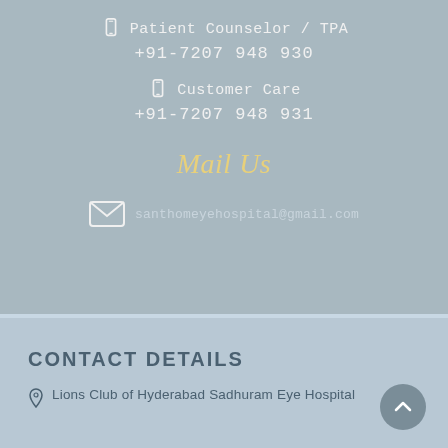Patient Counselor / TPA
+91-7207 948 930
Customer Care
+91-7207 948 931
Mail Us
santhomeyehospital@gmail.com
CONTACT DETAILS
Lions Club of Hyderabad Sadhuram Eye Hospital